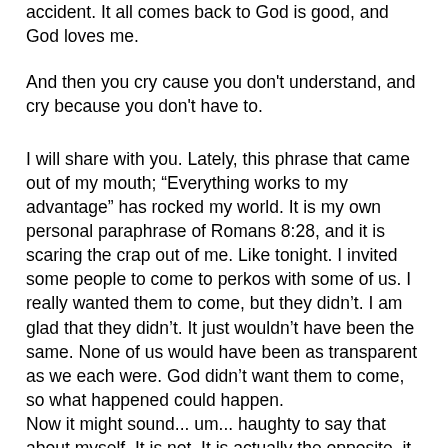accident. It all comes back to God is good, and God loves me.
And then you cry cause you don't understand, and cry because you don't have to.
I will share with you. Lately, this phrase that came out of my mouth; “Everything works to my advantage” has rocked my world. It is my own personal paraphrase of Romans 8:28, and it is scaring the crap out of me. Like tonight. I invited some people to come to perkos with some of us. I really wanted them to come, but they didn’t. I am glad that they didn’t. It just wouldn’t have been the same. None of us would have been as transparent as we each were. God didn’t want them to come, so what happened could happen.
Now it might sound... um... haughty to say that about myself. It is not. It is actually the opposite, it is humbling. Without going to deep in to the taboo subject of predestination, it is actually just a way of reminding myself of the fact that I am